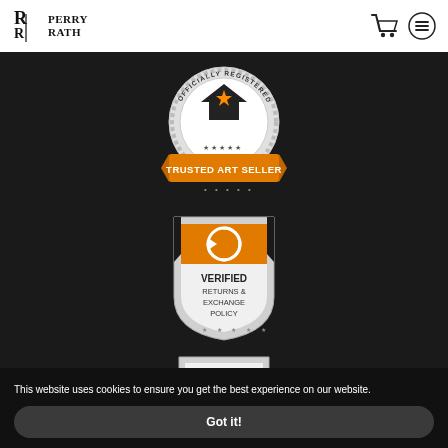Perry Rath
[Figure (logo): Trusted Art Seller badge — circular seal with 'OFFICIALLY REGISTERED' around the top, a house with a star in the center, and an orange banner reading 'TRUSTED ART SELLER' across the bottom]
[Figure (logo): Verified Returns & Exchange Policy badge — shield shape with orange top section containing a circular arrows icon, white bottom with text 'VERIFIED RETURNS & EXCHANGE POLICY' and five dots at the bottom]
[Figure (logo): Verified Secure Website badge — shield shape with a padlock icon and text 'VERIFIED SECURE WEBSITE']
This website uses cookies to ensure you get the best experience on our website.
Got it!